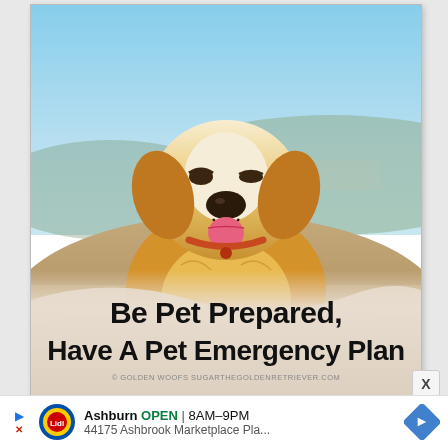[Figure (photo): Advertisement image showing a golden retriever dog smiling outdoors on a hilltop with blue sky and landscape in background. Text overlay reads 'Be Pet Prepared, Have A Pet Emergency Plan'. Copyright: Golden Woofs SugarTheGoldenRetriever.com]
X
Ashburn OPEN 8AM–9PM 44175 Ashbrook Marketplace Pla...